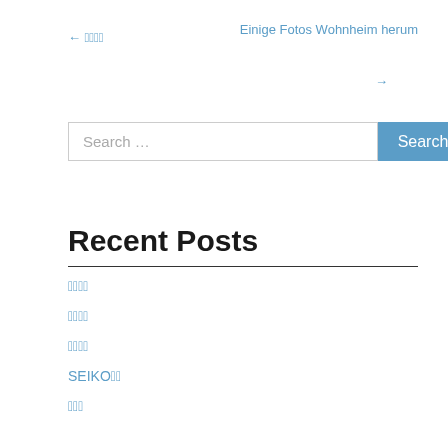← 한국어
Einige Fotos Wohnheim herum →
[Figure (screenshot): Search bar with text input field showing placeholder 'Search ...' and a blue 'Search' button]
Recent Posts
한국어
한국어
한국어
SEIKO한국어
한국어